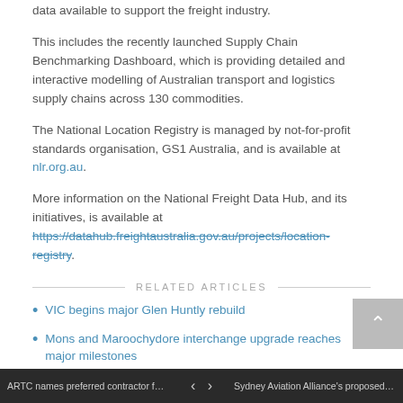data available to support the freight industry.
This includes the recently launched Supply Chain Benchmarking Dashboard, which is providing detailed and interactive modelling of Australian transport and logistics supply chains across 130 commodities.
The National Location Registry is managed by not-for-profit standards organisation, GS1 Australia, and is available at nlr.org.au.
More information on the National Freight Data Hub, and its initiatives, is available at https://datahub.freightaustralia.gov.au/projects/location-registry.
RELATED ARTICLES
VIC begins major Glen Huntly rebuild
Mons and Maroochydore interchange upgrade reaches major milestones
$349.5 million TAS bypass hits major milestone
Planning contract awarded for key $255 million Cairns intersection
Contract awarded for VIC Western Port Highway Upgrade
ARTC names preferred contractor for rail … ‹ › Sydney Aviation Alliance's proposed acq…